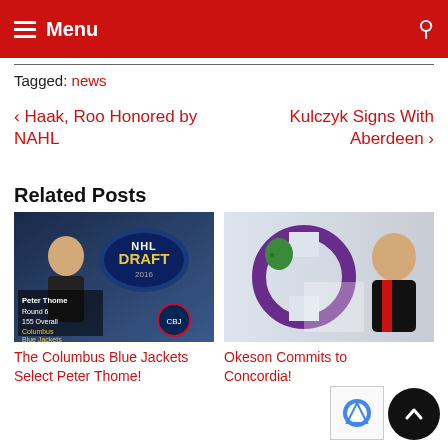Menu
Tagged: news
< Haak, Roo Honored by NAHL
Kulczyk Signs With Aberdeen >
Related Posts
[Figure (photo): NHL Draft image with Peter Thome Round 6 155 Overall Columbus Blue Jackets]
[Figure (photo): Okeson hockey player photo with Concordia logo]
The Columbus Blue Jackets Select Peter Thome!
Okeson Commits to Concordia!